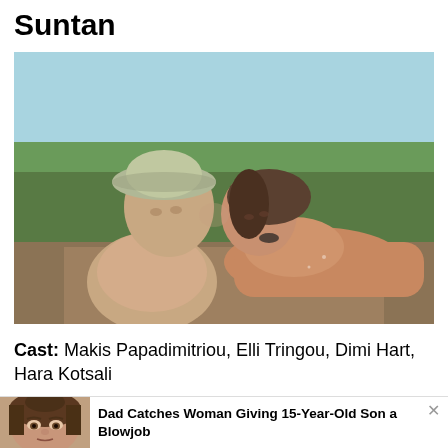Suntan
[Figure (photo): Two people close together face-to-face outdoors. A man wearing a bucket hat and a woman with wet hair, both shirtless, in an intimate pose against a natural background with green vegetation.]
Cast: Makis Papadimitriou, Elli Tringou, Dimi Hart, Hara Kotsali
[Figure (photo): Close-up headshot photo of a woman with brown hair pulled back, looking at camera. Appears to be a mugshot or ID-style photo.]
Dad Catches Woman Giving 15-Year-Old Son a Blowjob